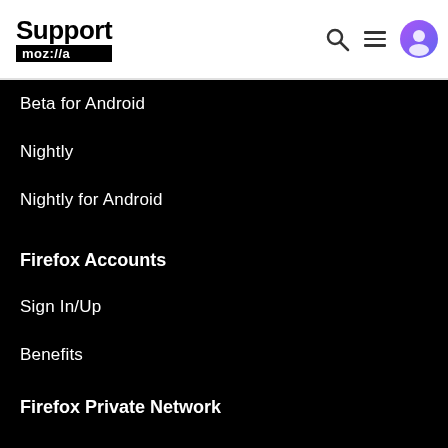Support mozilla:// a
Beta for Android
Nightly
Nightly for Android
Firefox Accounts
Sign In/Up
Benefits
Firefox Private Network
Jezik